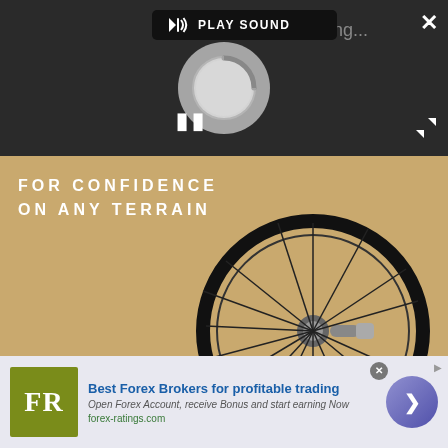[Figure (screenshot): Dark video player overlay with PLAY SOUND button, close X button, loading spinner circle, pause button (||), and expand/fullscreen icon. Shows a partially loaded video.]
[Figure (photo): Bicycle wheel product advertisement on tan/khaki background with white bold text overlay reading FOR CONFIDENCE ON ANY TERRAIN. A black carbon bicycle wheel is shown.]
FOR CONFIDENCE ON ANY TERRAIN
[Figure (infographic): Bottom advertisement banner for Forex Ratings (FR logo in olive green). Text: Best Forex Brokers for profitable trading. Open Forex Account, receive Bonus and start earning Now. forex-ratings.com]